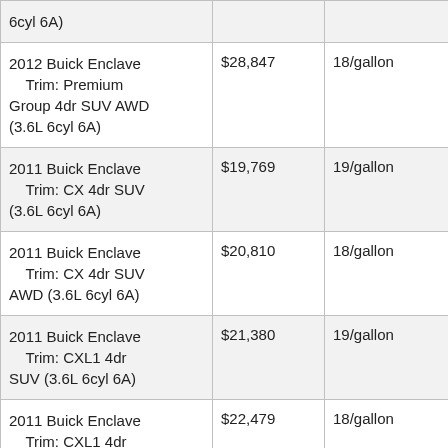| 6cyl 6A) |  |  |  |
| 2012 Buick Enclave Trim: Premium Group 4dr SUV AWD (3.6L 6cyl 6A) | $28,847 | 18/gallon | 22.0 |
| 2011 Buick Enclave Trim: CX 4dr SUV (3.6L 6cyl 6A) | $19,769 | 19/gallon | 22.0 |
| 2011 Buick Enclave Trim: CX 4dr SUV AWD (3.6L 6cyl 6A) | $20,810 | 18/gallon | 22.0 |
| 2011 Buick Enclave Trim: CXL1 4dr SUV (3.6L 6cyl 6A) | $21,380 | 19/gallon | 22.0 |
| 2011 Buick Enclave Trim: CXL1 4dr SUV AWD (3.6L 6cyl | $22,479 | 18/gallon | 22.0 |